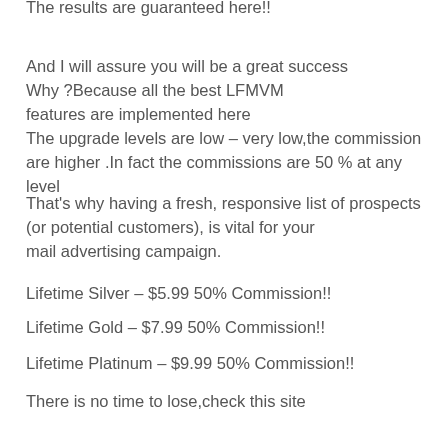The results are guaranteed here!!
And I will assure you will be a great success Why ?Because all the best LFMVM features are implemented here The upgrade levels are low – very low,the commission are higher .In fact the commissions are 50 % at any level
That's why having a fresh, responsive list of prospects (or potential customers), is vital for your mail advertising campaign.
Lifetime Silver – $5.99 50% Commission!!
Lifetime Gold – $7.99 50% Commission!!
Lifetime Platinum – $9.99 50% Commission!!
There is no time to lose,check this site